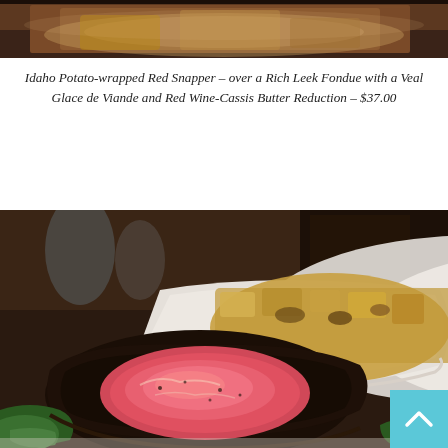[Figure (photo): Top portion of a restaurant food photo, partially cropped, showing a plated dish with warm amber tones.]
Idaho Potato-wrapped Red Snapper – over a Rich Leek Fondue with a Veal Glace de Viande and Red Wine-Cassis Butter Reduction – $37.00
[Figure (photo): Close-up restaurant food photo showing a seared steak sliced to reveal a pink medium-rare interior with a dark crust, served with a white bowl of golden potato and mushroom dish in the background, garnished with greens.]